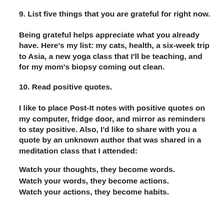9. List five things that you are grateful for right now.
Being grateful helps appreciate what you already have. Here's my list: my cats, health, a six-week trip to Asia, a new yoga class that I'll be teaching, and for my mom's biopsy coming out clean.
10. Read positive quotes.
I like to place Post-It notes with positive quotes on my computer, fridge door, and mirror as reminders to stay positive. Also, I'd like to share with you a quote by an unknown author that was shared in a meditation class that I attended:
Watch your thoughts, they become words.
Watch your words, they become actions.
Watch your actions, they become habits.